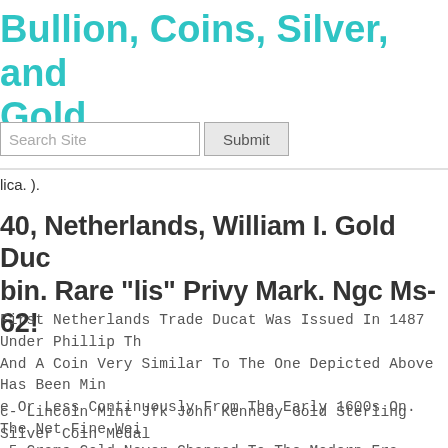Bullion, Coins, Silver, and Gold
Search Site  Submit
lica. ).
40, Netherlands, William I. Gold Duc bin. Rare "lis" Privy Mark. Ngc Ms-62!
First Netherlands Trade Ducat Was Issued In 1487 Under Phillip Th And A Coin Very Similar To The One Depicted Above Has Been Min e Or Less Continuously From The Early 1600s On. The Net Fine Wei .5 Grams Gold Never Changed To The Modern Era.
c- Lincoln Mint Jfk John Kennedy Gold Sterling Silver Coin Medal es Set. Coins Are Each Made Of Solid .925 Sterling Silver Gilt In 24